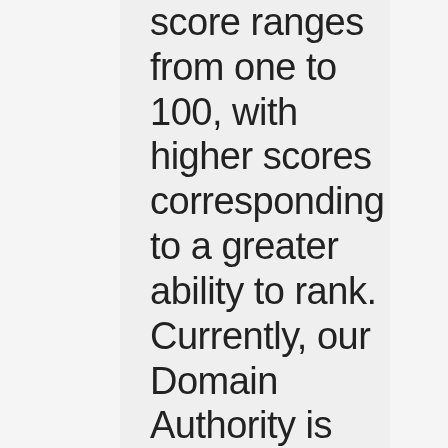score ranges from one to 100, with higher scores corresponding to a greater ability to rank. Currently, our Domain Authority is 32, and Page